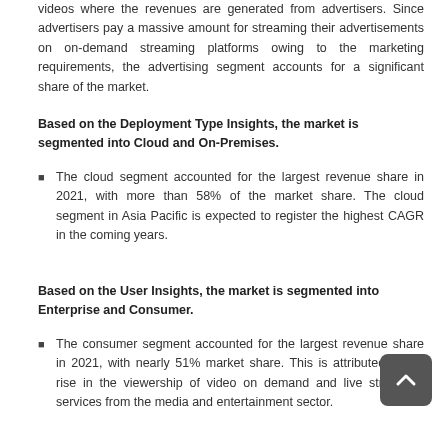videos where the revenues are generated from advertisers. Since advertisers pay a massive amount for streaming their advertisements on on-demand streaming platforms owing to the marketing requirements, the advertising segment accounts for a significant share of the market.
Based on the Deployment Type Insights, the market is segmented into Cloud and On-Premises.
The cloud segment accounted for the largest revenue share in 2021, with more than 58% of the market share. The cloud segment in Asia Pacific is expected to register the highest CAGR in the coming years.
Based on the User Insights, the market is segmented into Enterprise and Consumer.
The consumer segment accounted for the largest revenue share in 2021, with nearly 51% market share. This is attributed to the rise in the viewership of video on demand and live streaming services from the media and entertainment sector.